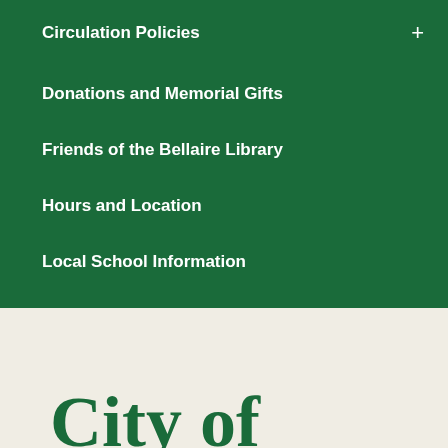Circulation Policies
Donations and Memorial Gifts
Friends of the Bellaire Library
Hours and Location
Local School Information
Reference Information
City of